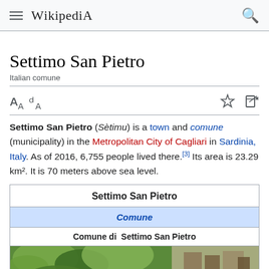Wikipedia
Settimo San Pietro
Italian comune
Settimo San Pietro (Sètimu) is a town and comune (municipality) in the Metropolitan City of Cagliari in Sardinia, Italy. As of 2016, 6,755 people lived there.[3] Its area is 23.29 km². It is 70 meters above sea level.
| Settimo San Pietro |
| --- |
| Comune |
| Comune di Settimo San Pietro |
| [photo] |